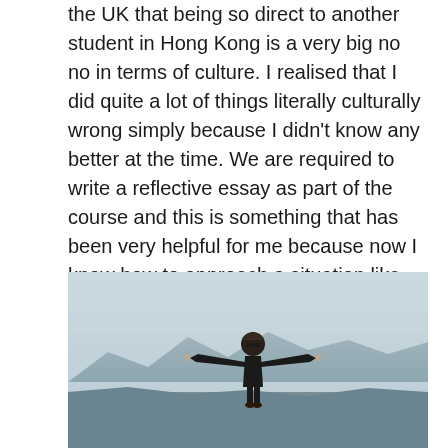the UK that being so direct to another student in Hong Kong is a very big no no in terms of culture. I realised that I did quite a lot of things literally culturally wrong simply because I didn't know any better at the time. We are required to write a reflective essay as part of the course and this is something that has been very helpful for me because now I know how to approach a situation like that in the future. It was definitely frustrating while I was there but part of that was because I didn't really know how to handle it. The essay gave me time to sit back and it gave me a lot of 'aha' moments where I realised what I should and shouldn't have done.
[Figure (photo): A woman in black clothing and sunglasses standing outdoors with arms spread wide, smiling, with hills and hazy sky in the background.]